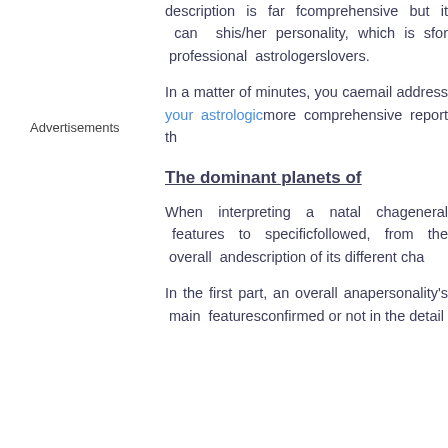Advertisements
description is far from comprehensive but it can show his/her personality, which is sufficient for professional astrologers lovers.
In a matter of minutes, you can email address your astrological more comprehensive report that
The dominant planets of
When interpreting a natal chart, general features to specific followed, from the overall an description of its different char
In the first part, an overall ana personality's main features confirmed or not in the detail